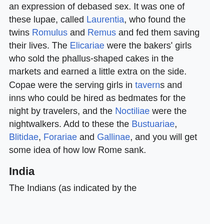an expression of debased sex. It was one of these lupae, called Laurentia, who found the twins Romulus and Remus and fed them saving their lives. The Elicariae were the bakers' girls who sold the phallus-shaped cakes in the markets and earned a little extra on the side. Copae were the serving girls in taverns and inns who could be hired as bedmates for the night by travelers, and the Noctiliae were the nightwalkers. Add to these the Bustuariae, Blitidae, Forariae and Gallinae, and you will get some idea of how low Rome sank.
India
The Indians (as indicated by the